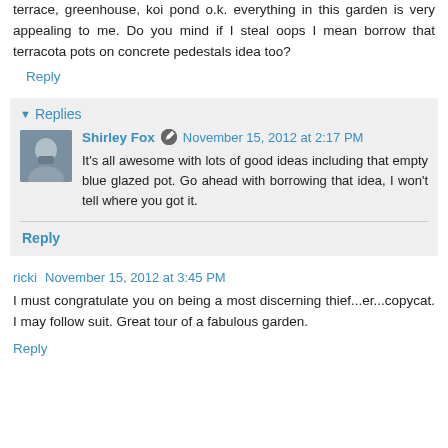terrace, greenhouse, koi pond o.k. everything in this garden is very appealing to me. Do you mind if I steal oops I mean borrow that terracota pots on concrete pedestals idea too?
Reply
Replies
Shirley Fox  November 15, 2012 at 2:17 PM
It's all awesome with lots of good ideas including that empty blue glazed pot. Go ahead with borrowing that idea, I won't tell where you got it.
Reply
ricki  November 15, 2012 at 3:45 PM
I must congratulate you on being a most discerning thief...er...copycat. I may follow suit. Great tour of a fabulous garden.
Reply